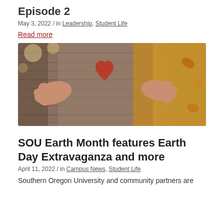Episode 2
May 3, 2022 / in Leadership, Student Life
Read more
[Figure (photo): Person hugging a tree trunk with a red heart painted on the bark, with autumn foliage visible in the background.]
SOU Earth Month features Earth Day Extravaganza and more
April 11, 2022 / in Campus News, Student Life
Southern Oregon University and community partners are